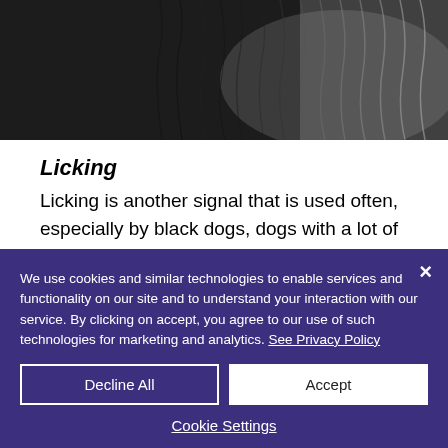[Figure (photo): Close-up photo of dark/black furry animal, likely a dog, showing fur texture against a lighter grey background]
Licking
Licking is another signal that is used often, especially by black dogs, dogs with a lot of hair around their faces, and others who’s facial expressions for some reason are more difficult to
We use cookies and similar technologies to enable services and functionality on our site and to understand your interaction with our service. By clicking on accept, you agree to our use of such technologies for marketing and analytics. See Privacy Policy
Decline All
Accept
Cookie Settings